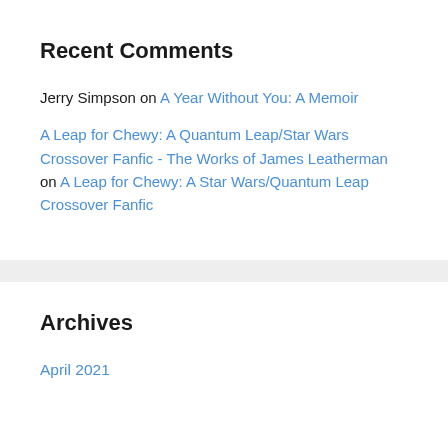Recent Comments
Jerry Simpson on A Year Without You: A Memoir
A Leap for Chewy: A Quantum Leap/Star Wars Crossover Fanfic - The Works of James Leatherman on A Leap for Chewy: A Star Wars/Quantum Leap Crossover Fanfic
Archives
April 2021